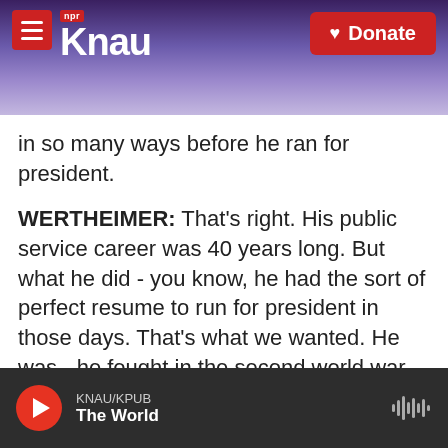KNAU NPR — Donate
in so many ways before he ran for president.
WERTHEIMER: That's right. His public service career was 40 years long. But what he did - you know, he had the sort of perfect resume to run for president in those days. That's what we wanted. He was - he fought in the second world war with distinction. He was in business in Texas at the very beginning of the oil fields there in Midland, the Permian Basin. And he always mispronounced business. He - that was one of the few words that he said as bidness (ph).
KNAU/KPUB — The World